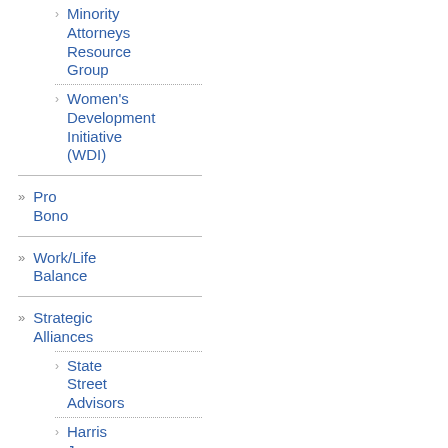Minority Attorneys Resource Group
Women's Development Initiative (WDI)
Pro Bono
Work/Life Balance
Strategic Alliances
State Street Advisors
Harris Jones & Malone, LLC